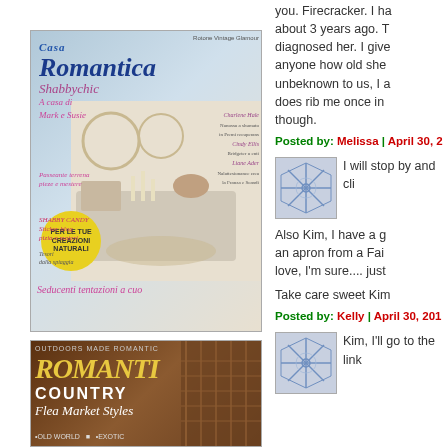[Figure (photo): Casa Romantica Shabbychic magazine cover with Italian text and room interior photo]
you. Firecracker. I h about 3 years ago. T diagnosed her. I give anyone how old she unbeknown to us, I a does rib me once in though.
Posted by: Melissa | April 30, 2
[Figure (photo): Small avatar with blue geometric star pattern]
I will stop by and cli
Also Kim, I have a g an apron from a Fai love, I'm sure.... just
Take care sweet Kim
Posted by: Kelly | April 30, 201
[Figure (photo): Romantic Country – Flea Market Styles magazine cover with brown/rustic outdoor scene]
[Figure (photo): Small avatar with blue geometric star pattern]
Kim, I'll go to the link